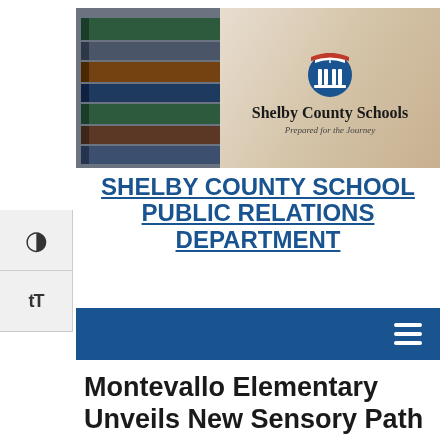[Figure (logo): Shelby County Schools banner with logo — stacked books on left, circular emblem with open book and columns, text 'Shelby County Schools / Prepared for the Journey']
SHELBY COUNTY SCHOOL PUBLIC RELATIONS DEPARTMENT
[Figure (screenshot): Dark blue navigation bar with hamburger menu icon on right]
Montevallo Elementary Unveils New Sensory Path and Sensory Gar...